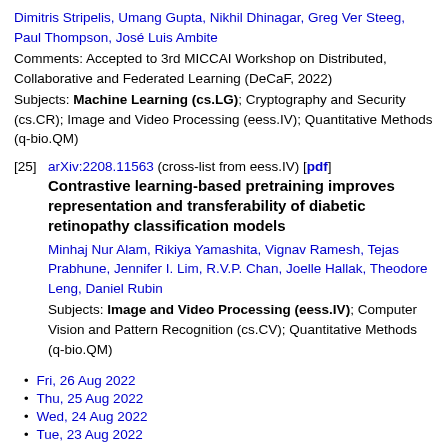Dimitris Stripelis, Umang Gupta, Nikhil Dhinagar, Greg Ver Steeg, Paul Thompson, José Luis Ambite
Comments: Accepted to 3rd MICCAI Workshop on Distributed, Collaborative and Federated Learning (DeCaF, 2022)
Subjects: Machine Learning (cs.LG); Cryptography and Security (cs.CR); Image and Video Processing (eess.IV); Quantitative Methods (q-bio.QM)
[25] arXiv:2208.11563 (cross-list from eess.IV) [pdf]
Contrastive learning-based pretraining improves representation and transferability of diabetic retinopathy classification models
Minhaj Nur Alam, Rikiya Yamashita, Vignav Ramesh, Tejas Prabhune, Jennifer I. Lim, R.V.P. Chan, Joelle Hallak, Theodore Leng, Daniel Rubin
Subjects: Image and Video Processing (eess.IV); Computer Vision and Pattern Recognition (cs.CV); Quantitative Methods (q-bio.QM)
Fri, 26 Aug 2022
Thu, 25 Aug 2022
Wed, 24 Aug 2022
Tue, 23 Aug 2022
Mon, 22 Aug 2022